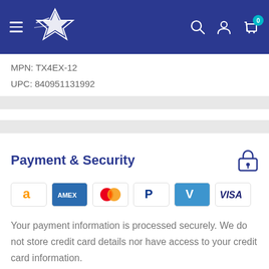[Figure (screenshot): Navigation header bar with hamburger menu, star logo on blue background, search icon, account icon, and cart icon with badge showing 0]
MPN: TX4EX-12
UPC: 840951131992
Payment & Security
[Figure (infographic): Payment method icons: Amazon, Amex, Mastercard, PayPal, Venmo, Visa]
Your payment information is processed securely. We do not store credit card details nor have access to your credit card information.